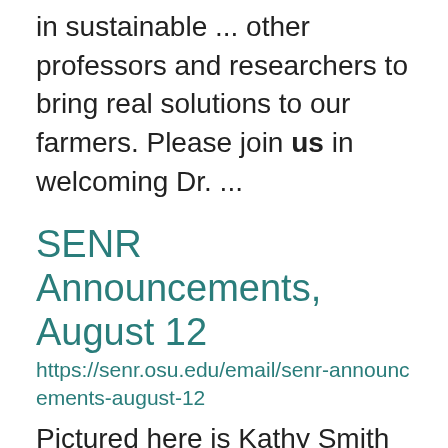in sustainable ... other professors and researchers to bring real solutions to our farmers. Please join us in welcoming Dr. ...
SENR Announcements, August 12
https://senr.osu.edu/email/senr-announcements-august-12
Pictured here is Kathy Smith about to cut a small branch for attendees to identify the Black Walnut tree by ... Department of Athletics at Ohio State as an Environmental Sustainability Specialist. We are excited about ... more. A simultaneous companion exhibition  is also open to the public August 22 – September